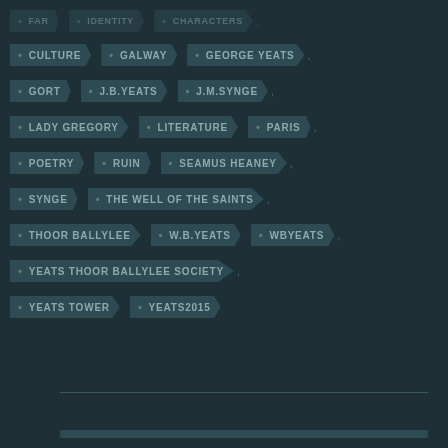CULTURE
GALWAY
GEORGE YEATS
GORT
J.B.YEATS
J.M.SYNGE
LADY GREGORY
LITERATURE
PARIS
POETRY
RUIN
SEAMUS HEANEY
SYNGE
THE WELL OF THE SAINTS
THOOR BALLYLEE
W.B.YEATS
WBYEATS
YEATS THOOR BALLYLEE SOCIETY
YEATS TOWER
YEATS2015